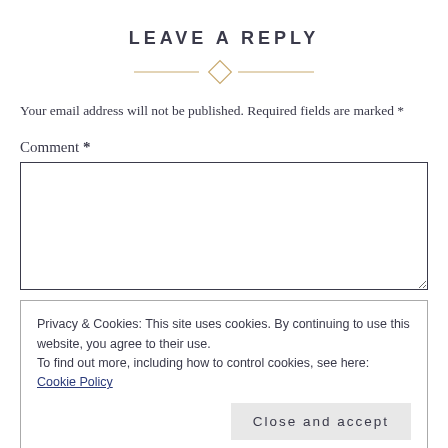LEAVE A REPLY
Your email address will not be published. Required fields are marked *
Comment *
Privacy & Cookies: This site uses cookies. By continuing to use this website, you agree to their use.
To find out more, including how to control cookies, see here: Cookie Policy
Close and accept
Website